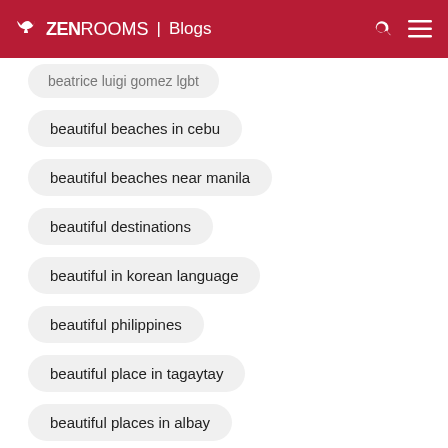ZEN ROOMS | Blogs
beatrice luigi gomez lgbt
beautiful beaches in cebu
beautiful beaches near manila
beautiful destinations
beautiful in korean language
beautiful philippines
beautiful place in tagaytay
beautiful places in albay
beautiful places in baguio